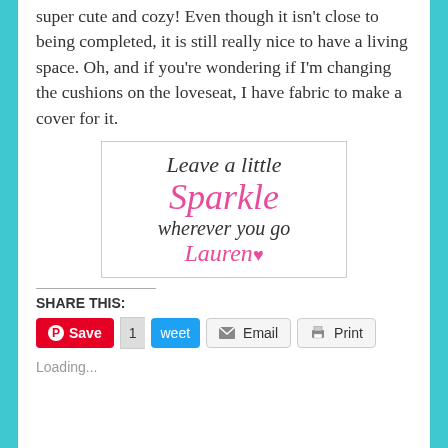So that's the new living space in the apartment. It's super cute and cozy!  Even though it isn't close to being completed, it is still really nice to have a living space.  Oh, and if you're wondering if I'm changing the cushions on the loveseat, I have fabric to make a cover for it.
[Figure (illustration): Handwritten-style signature graphic reading 'Leave a little Sparkle wherever you go Lauren' with a heart. 'Sparkle' and 'Lauren' are in pink cursive, rest in black cursive.]
SHARE THIS:
Save  1  Tweet  Email  Print
Loading...